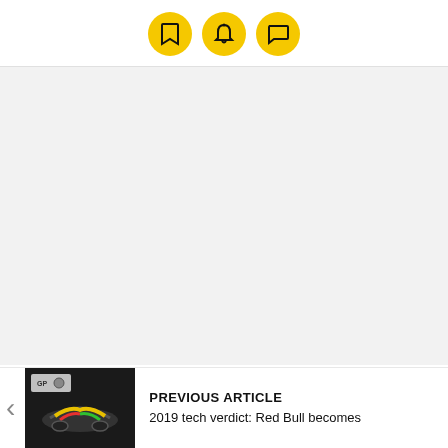bookmark, bell, and comment icons (yellow circles)
[Figure (screenshot): Large grey/empty content area, likely a collapsed advertisement or media placeholder]
[Figure (photo): Thumbnail image of a Formula 1 racing car (Red Bull) with colorful livery, with GP logo overlay]
PREVIOUS ARTICLE
2019 tech verdict: Red Bull becomes